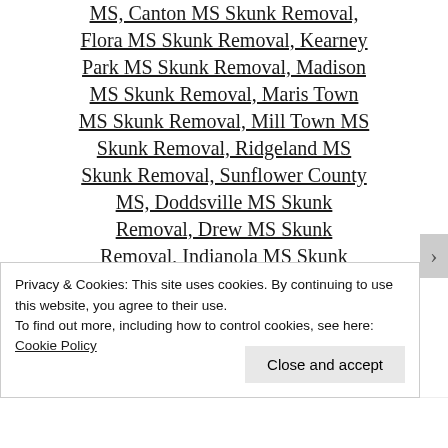MS, Canton MS Skunk Removal, Flora MS Skunk Removal, Kearney Park MS Skunk Removal, Madison MS Skunk Removal, Maris Town MS Skunk Removal, Mill Town MS Skunk Removal, Ridgeland MS Skunk Removal, Sunflower County MS, Doddsville MS Skunk Removal, Drew MS Skunk Removal, Indianola MS Skunk Removal, Inverness MS Skunk...
Privacy & Cookies: This site uses cookies. By continuing to use this website, you agree to their use. To find out more, including how to control cookies, see here: Cookie Policy